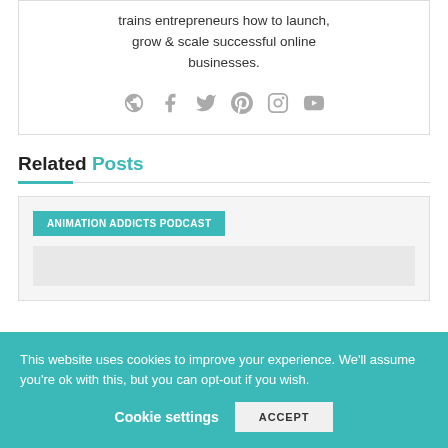trains entrepreneurs how to launch, grow & scale successful online businesses.
[Figure (illustration): Row of 6 social media icons (globe/website, Facebook, Twitter, Pinterest, Instagram, YouTube) in gray color]
Related Posts
ANIMATION ADDICTS PODCAST
This website uses cookies to improve your experience. We'll assume you're ok with this, but you can opt-out if you wish.
Cookie settings
ACCEPT